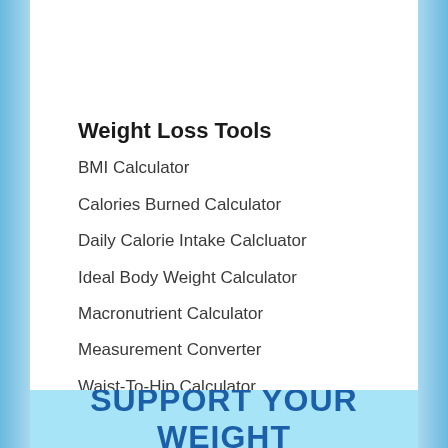[Figure (photo): Product bottles of weight loss supplement tablets with a red 'Shop Here' badge/seal in the center, multiple white plastic supplement bottles with blue labels]
Weight Loss Tools
BMI Calculator
Calories Burned Calculator
Daily Calorie Intake Calcluator
Ideal Body Weight Calculator
Macronutrient Calculator
Measurement Converter
Waist-To-Hip Calculator
Weight Loss Goal Estimator
SUPPORT YOUR WEIGHT